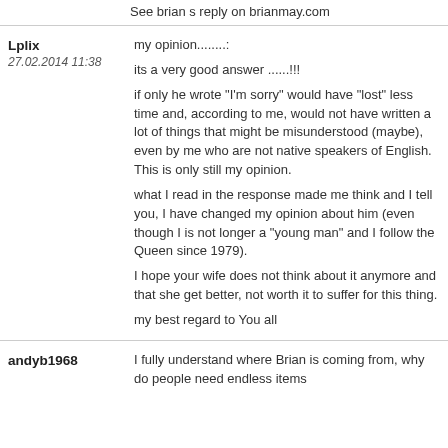See brian s reply on brianmay.com
my opinion........:
its a very good answer ......!!!
if only he wrote "I'm sorry" would have "lost" less time and, according to me, would not have written a lot of things that might be misunderstood (maybe), even by me who are not native speakers of English. This is only still my opinion.
what I read in the response made me think and I tell you, I have changed my opinion about him (even though I is not longer a "young man" and I follow the Queen since 1979).
I hope your wife does not think about it anymore and that she get better, not worth it to suffer for this thing.
my best regard to You all
Lplix
27.02.2014 11:38
andyb1968
I fully understand where Brian is coming from, why do people need endless items